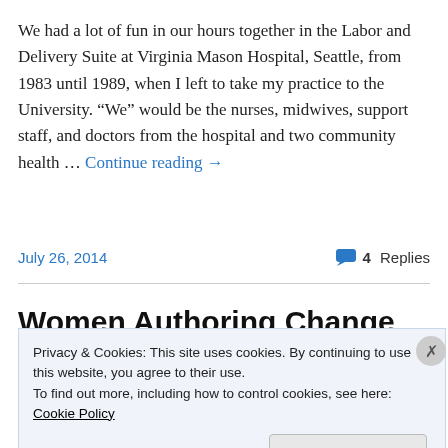We had a lot of fun in our hours together in the Labor and Delivery Suite at Virginia Mason Hospital, Seattle, from 1983 until 1989, when I left to take my practice to the University. “We” would be the nurses, midwives, support staff, and doctors from the hospital and two community health … Continue reading →
July 26, 2014     4 Replies
Women Authoring Change
Privacy & Cookies: This site uses cookies. By continuing to use this website, you agree to their use. To find out more, including how to control cookies, see here: Cookie Policy